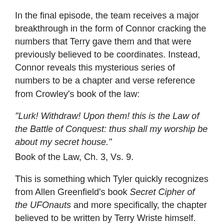In the final episode, the team receives a major breakthrough in the form of Connor cracking the numbers that Terry gave them and that were previously believed to be coordinates. Instead, Connor reveals this mysterious series of numbers to be a chapter and verse reference from Crowley's book of the law:
“Lurk! Withdraw! Upon them! this is the Law of the Battle of Conquest: thus shall my worship be about my secret house.”
Book of the Law, Ch. 3, Vs. 9.
This is something which Tyler quickly recognizes from Allen Greenfield’s book Secret Cipher of the UFOnauts and more specifically, the chapter believed to be written by Terry Wriste himself.
’11. How to Defeat the UFONaut Body Snatchers: The